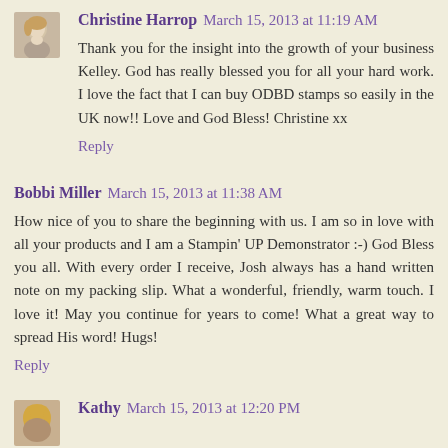Christine Harrop March 15, 2013 at 11:19 AM
Thank you for the insight into the growth of your business Kelley. God has really blessed you for all your hard work. I love the fact that I can buy ODBD stamps so easily in the UK now!! Love and God Bless! Christine xx
Reply
Bobbi Miller March 15, 2013 at 11:38 AM
How nice of you to share the beginning with us. I am so in love with all your products and I am a Stampin' UP Demonstrator :-) God Bless you all. With every order I receive, Josh always has a hand written note on my packing slip. What a wonderful, friendly, warm touch. I love it! May you continue for years to come! What a great way to spread His word! Hugs!
Reply
Kathy March 15, 2013 at 12:20 PM